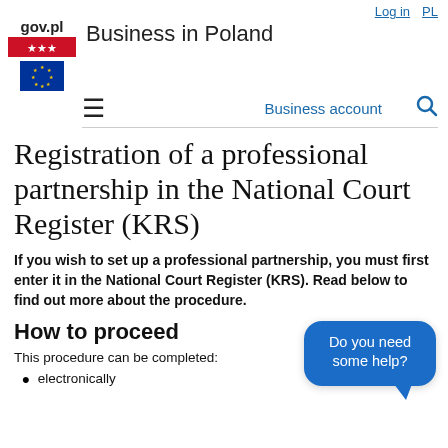Log in   PL
gov.pl  Business in Poland
≡  Business account  🔍
Registration of a professional partnership in the National Court Register (KRS)
If you wish to set up a professional partnership, you must first enter it in the National Court Register (KRS). Read below to find out more about the procedure.
How to proceed
This procedure can be completed:
electronically
[Figure (other): Blue speech bubble chat widget with text 'Do you need some help?']